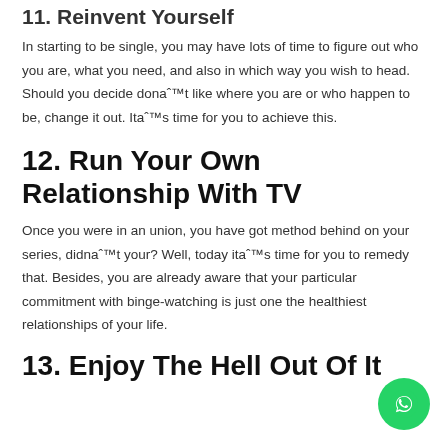11. Reinvent Yourself
In starting to be single, you may have lots of time to figure out who you are, what you need, and also in which way you wish to head. Should you decide donaˆ™t like where you are or who happen to be, change it out. Itaˆ™s time for you to achieve this.
12. Run Your Own Relationship With TV
Once you were in an union, you have got method behind on your series, didnaˆ™t your? Well, today itaˆ™s time for you to remedy that. Besides, you are already aware that your particular commitment with binge-watching is just one the healthiest relationships of your life.
13. Enjoy The Hell Out Of It